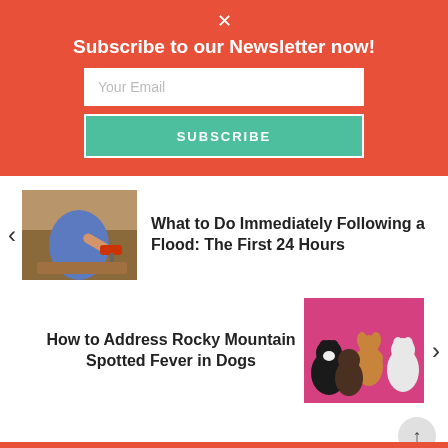×
Subscribe to our Newsletter now!
Your Email
SUBSCRIBE
[Figure (photo): Person using a red power drill on wooden surface]
What to Do Immediately Following a Flood: The First 24 Hours
[Figure (photo): Four small dogs posed together in front of a pink background]
How to Address Rocky Mountain Spotted Fever in Dogs